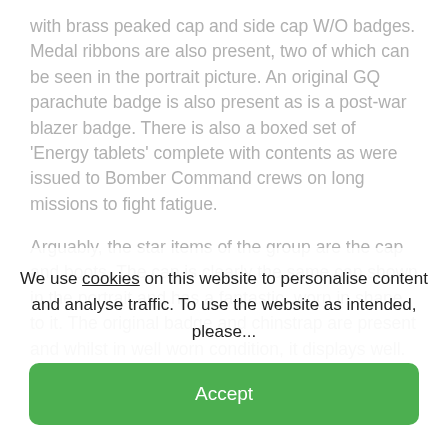with brass peaked cap and side cap W/O badges. Medal ribbons are also present, two of which can be seen in the portrait picture. An original GQ parachute badge is also present as is a post-war blazer badge. There is also a boxed set of 'Energy tablets' complete with contents as were issued to Bomber Command crews on long missions to fight fatigue.
Arguably, the star items of the group are the cap and boots. The cap is clearly the same cap shown in the portrait and has a fantastic, worn in shape to it. The original badge and chinstrap are present and whilst in well worn condition, it displays well. The boots are also
We use cookies on this website to personalise content and analyse traffic. To use the website as intended, please...
Accept